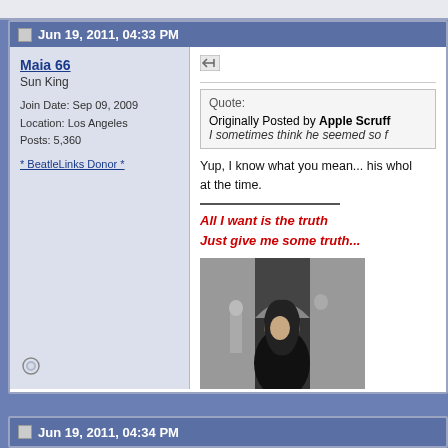Jun 19, 2011, 04:33 PM
Maia 66
Sun King

Join Date: Sep 09, 2009
Location: Los Angeles
Posts: 5,360

* BeatleLinks Donor *
Quote:
Originally Posted by Apple Scruff
I sometimes think he seemed so f[...]
Yup, I know what you mean... his whol[...] at the time.
All I want is the truth
Just give me some truth...
[Figure (photo): Black and white photo of a person with long hair in the foreground, with two other people visible in the background near an arched stone doorway.]
Jun 19, 2011, 04:34 PM